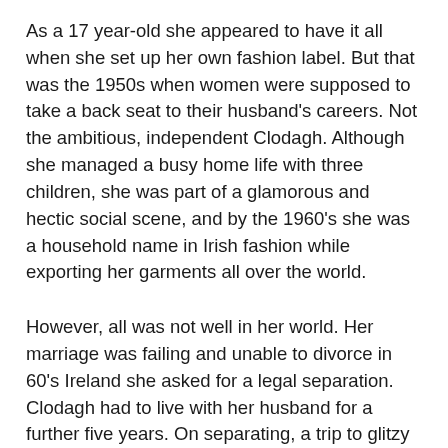As a 17 year-old she appeared to have it all when she set up her own fashion label. But that was the 1950s when women were supposed to take a back seat to their husband's careers. Not the ambitious, independent Clodagh. Although she managed a busy home life with three children, she was part of a glamorous and hectic social scene, and by the 1960's she was a household name in Irish fashion while exporting her garments all over the world.
However, all was not well in her world. Her marriage was failing and unable to divorce in 60's Ireland she asked for a legal separation. Clodagh had to live with her husband for a further five years. On separating, a trip to glitzy Mojacar in South East Spain in 1971 presented a life-changing moment. A chance meeting with an American screenwriter on a beach in Spain led to a move to the US where she reinvented herself as an interior designer. By 1971, she had